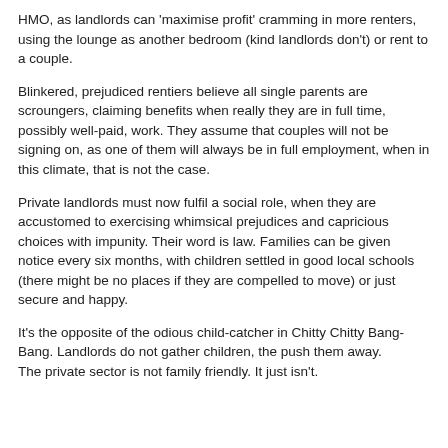HMO, as landlords can ‘maximise profit’ cramming in more renters, using the lounge as another bedroom (kind landlords don’t) or rent to a couple.
Blinkered, prejudiced rentiers believe all single parents are scroungers, claiming benefits when really they are in full time, possibly well-paid, work. They assume that couples will not be signing on, as one of them will always be in full employment, when in this climate, that is not the case.
Private landlords must now fulfil a social role, when they are accustomed to exercising whimsical prejudices and capricious choices with impunity. Their word is law. Families can be given notice every six months, with children settled in good local schools (there might be no places if they are compelled to move) or just secure and happy.
It’s the opposite of the odious child-catcher in Chitty Chitty Bang-Bang. Landlords do not gather children, the push them away.
The private sector is not family friendly. It just isn’t.